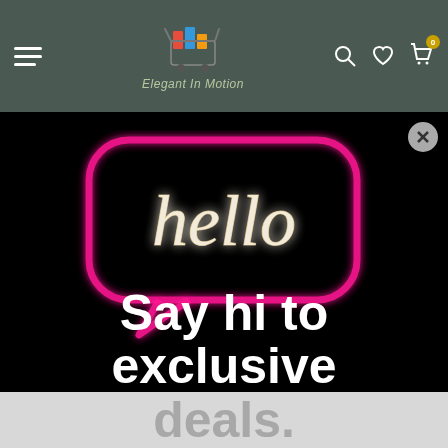Elegant In Motion — navigation header with logo, hamburger menu, search, wishlist, and cart icons
[Figure (photo): Neon 'hello' sign glowing pink and warm white on a black background, shaped like a speech bubble, with promotional text 'Say hi to exclusive deals.' overlaid in bold white and grey text]
Say hi to exclusive deals.